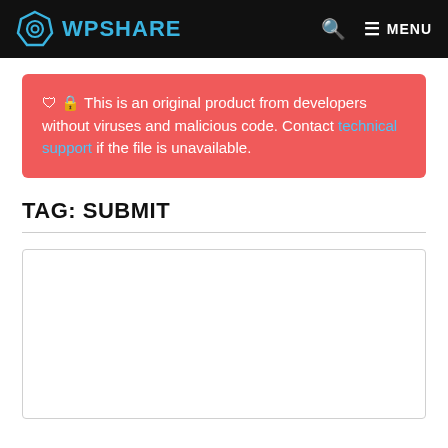WPSHARE — MENU
🛡️ 🔒 This is an original product from developers without viruses and malicious code. Contact technical support if the file is unavailable.
TAG: SUBMIT
[Figure (other): Empty white card/content placeholder box]